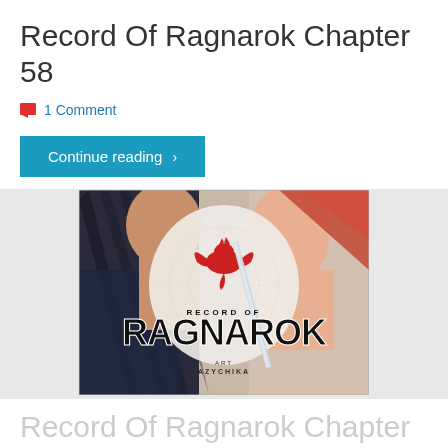Record Of Ragnarok Chapter 58
1 Comment
Continue reading >
[Figure (illustration): Manga cover art for Record of Ragnarok showing two muscular fighters facing each other with a red phoenix/dragon logo in the center, and the title 'RECORD OF RAGNAROK' in large bold text, with art credit 'AZYCHIKA' at the bottom]
Record Of Ragnarok Chapter